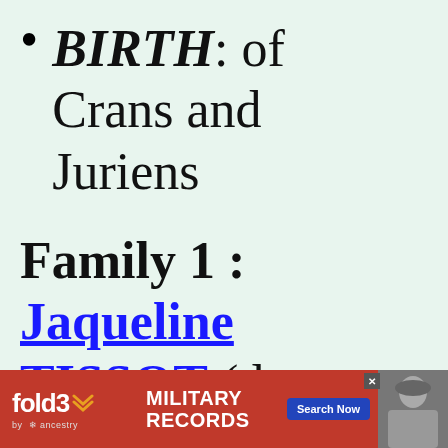BIRTH: of Crans and Juriens
Family 1 : Jaqueline TISSOT (dates u...
[Figure (other): fold3 by Ancestry advertisement banner for Military Records with Search Now button and soldier photo]